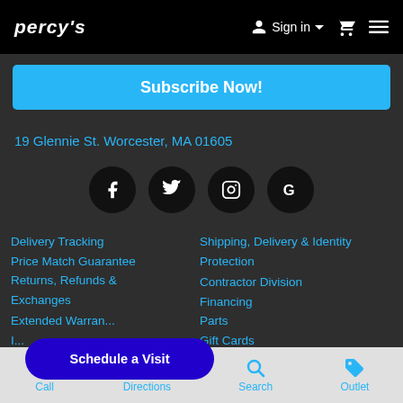PERCY'S | Sign in | Cart | Menu
Subscribe Now!
19 Glennie St. Worcester, MA 01605
[Figure (infographic): Social media icons row: Facebook, Twitter, Instagram, Google]
Delivery Tracking
Price Match Guarantee
Returns, Refunds & Exchanges
Extended Warranty
Insurance
Repair
Shipping, Delivery & Identity Protection
Contractor Division
Financing
Parts
Gift Cards
Careers
Schedule a Visit
Call | Directions | Search | Outlet